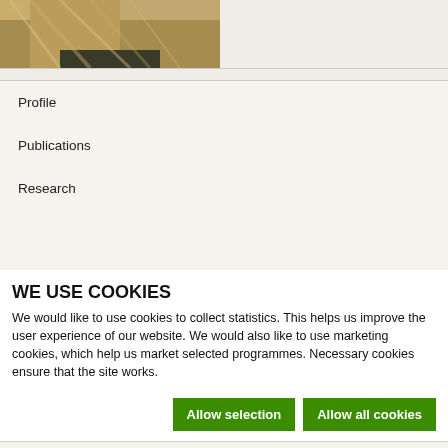[Figure (photo): Partial photo of a person with blond hair, cropped at top of page]
| Profile |
| Publications |
| Research |
|  |
|  |
WE USE COOKIES
We would like to use cookies to collect statistics. This helps us improve the user experience of our website. We would also like to use marketing cookies, which help us market selected programmes. Necessary cookies ensure that the site works.
Allow selection | Allow all cookies
Necessary  Preferences  Statistics  Marketing  Show details